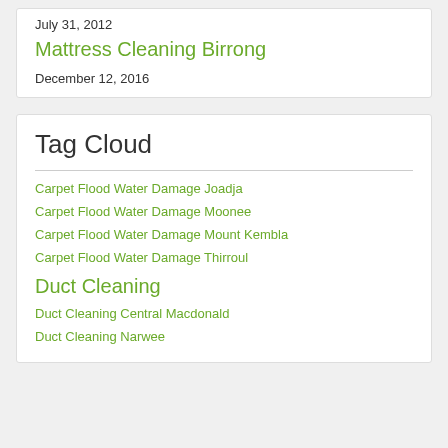July 31, 2012
Mattress Cleaning Birrong
December 12, 2016
Tag Cloud
Carpet Flood Water Damage Joadja
Carpet Flood Water Damage Moonee
Carpet Flood Water Damage Mount Kembla
Carpet Flood Water Damage Thirroul
Duct Cleaning
Duct Cleaning Central Macdonald
Duct Cleaning Narwee